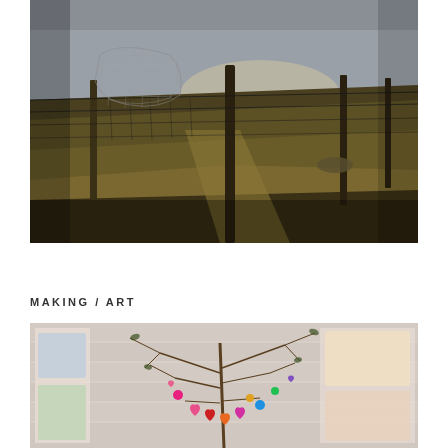[Figure (photo): Outdoor landscape photo showing a wire fence with a spider web or net caught on it, a wooden fence post in the center, rolling moorland or grassland in the background under a cloudy sky. Dark, moody tones with browns and greens.]
MAKING / ART
[Figure (photo): Indoor photo showing a decorative arrangement of bare branches with colorful felt or fabric hearts and small ornaments hanging from them, displayed against a light-colored wall with children's artwork visible in the background.]